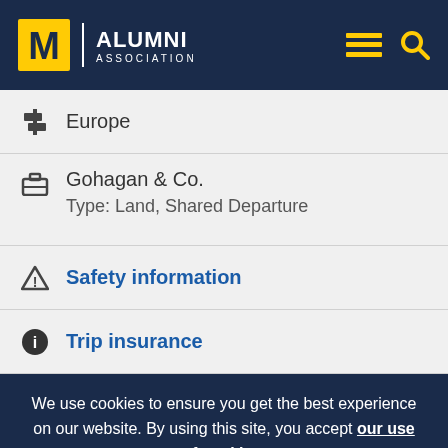Alumni Association
Europe
Gohagan & Co.
Type: Land, Shared Departure
Safety information
Trip insurance
We use cookies to ensure you get the best experience on our website. By using this site, you accept our use of cookies.
I UNDERSTAND